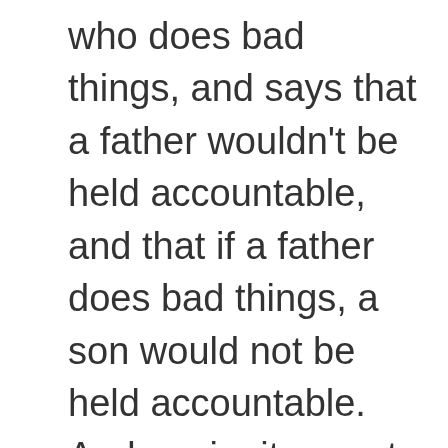who does bad things, and says that a father wouldn't be held accountable, and that if a father does bad things, a son would not be held accountable. And again, it repeats "20 The person who sins shall die. A child shall not suffer for the iniquity of a parent, nor a parent suffer for the iniquity of